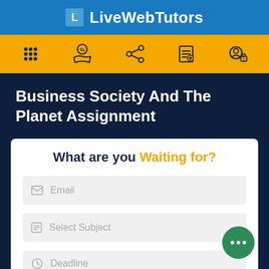LiveWebTutors
[Figure (screenshot): Navigation icon bar with five icons: grid/apps, discount/coupon hand, share network, add document, and account/lock icons on yellow background]
Business Society And The Planet Assignment
What are you Waiting for?
Email
Select Subject
Deadline